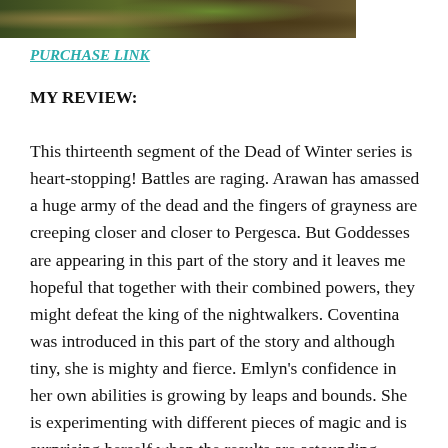[Figure (photo): Top portion of a book cover image showing a dark fantasy scene with figures in a forest or dark landscape setting]
PURCHASE LINK
MY REVIEW:
This thirteenth segment of the Dead of Winter series is heart-stopping! Battles are raging. Arawan has amassed a huge army of the dead and the fingers of grayness are creeping closer and closer to Pergesca. But Goddesses are appearing in this part of the story and it leaves me hopeful that together with their combined powers, they might defeat the king of the nightwalkers. Coventina was introduced in this part of the story and although tiny, she is mighty and fierce. Emlyn’s confidence in her own abilities is growing by leaps and bounds. She is experimenting with different pieces of magic and is surprising herself when the results are astounding. Then the goddess Deae Matres embeds the emblem of